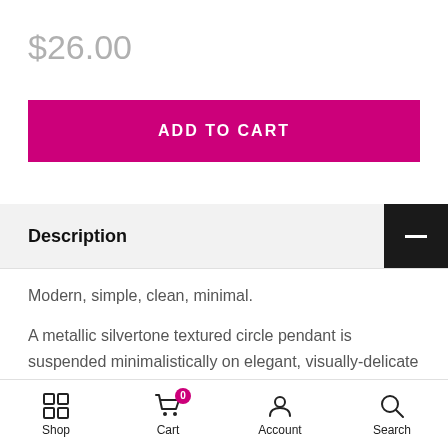$26.00
ADD TO CART
Description
Modern, simple, clean, minimal.
A metallic silvertone textured circle pendant is suspended minimalistically on elegant, visually-delicate black gunmetal chain. The antiqued pewter toggle clasp is accented with teeny-tiny faceted
Shop  Cart  Account  Search